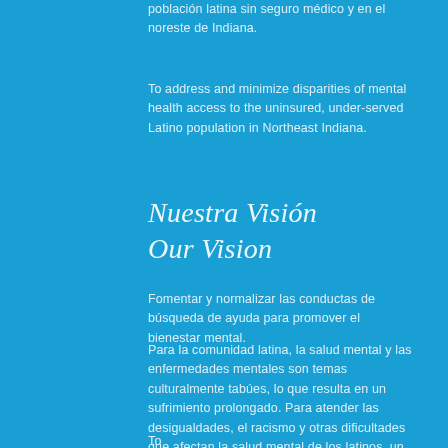población latina sin seguro médico y en el noreste de Indiana.
To address and minimize disparities of mental health access to the uninsured, under-served Latino population in Northeast Indiana.
Nuestra Visión
Our Vision
Fomentar y normalizar las conductas de búsqueda de ayuda para promover el bienestar mental.
Para la comunidad latina, la salud mental y las enfermedades mentales son temas culturalmente tabúes, lo que resulta en un sufrimiento prolongado. Para atender las desigualdades, el racismo y otras dificultades que afectan la salud mental de los latinos, un equipo de terapeutas y profesionales de habla hispana están trabajando juntos para brindar acceso a la atención de salud mental y cambiar las actitudes culturales hacia los comportamientos de búsqueda de ayuda.
To...